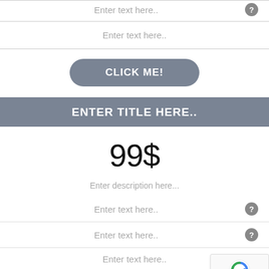Enter text here..
Enter text here..
CLICK ME!
ENTER TITLE HERE..
99$
Enter description here...
Enter text here..
Enter text here..
Enter text here..
Enter text here..